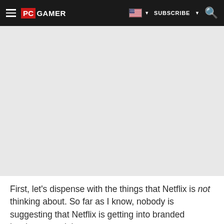PC GAMER | SUBSCRIBE
[Figure (other): Large grey advertisement/image placeholder area]
First, let's dispense with the things that Netflix is not thinking about. So far as I know, nobody is suggesting that Netflix is getting into branded hardware or triple-